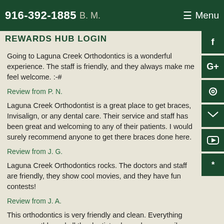916-392-1885 B. M. Menu
REWARDS HUB LOGIN
Going to Laguna Creek Orthodontics is a wonderful experience. The staff is friendly, and they always make me feel welcome. :-#
Review from P. N.
Laguna Creek Orthodontist is a great place to get braces, Invisalign, or any dental care. Their service and staff has been great and welcoming to any of their patients. I would surely recommend anyone to get there braces done here.
Review from J. G.
Laguna Creek Orthodontics rocks. The doctors and staff are friendly, they show cool movies, and they have fun contests!
Review from J. A.
This orthodontics is very friendly and clean. Everything runs smoothly and all the dentists always have a smile on their face.